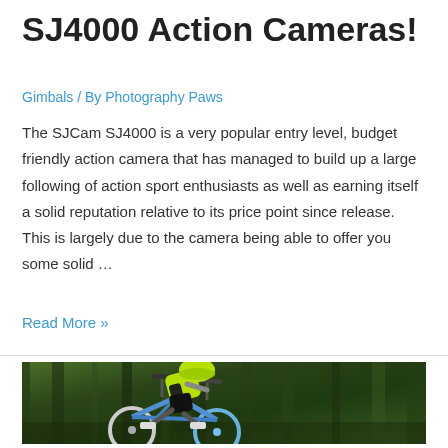SJ4000 Action Cameras!
Gimbals / By Photography Paws
The SJCam SJ4000 is a very popular entry level, budget friendly action camera that has managed to build up a large following of action sport enthusiasts as well as earning itself a solid reputation relative to its price point since release. This is largely due to the camera being able to offer you some solid …
Read More »
[Figure (photo): A mountain biker wearing a bright yellow/green jersey and helmet rides a blue mountain bike at speed through a wooded area, with motion blur in the background suggesting high speed.]